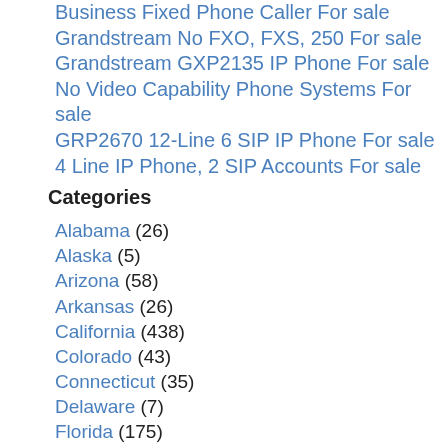Business Fixed Phone Caller For sale
Grandstream No FXO, FXS, 250 For sale
Grandstream GXP2135 IP Phone For sale
No Video Capability Phone Systems For sale
GRP2670 12-Line 6 SIP IP Phone For sale
4 Line IP Phone, 2 SIP Accounts For sale
Categories
Alabama (26)
Alaska (5)
Arizona (58)
Arkansas (26)
California (438)
Colorado (43)
Connecticut (35)
Delaware (7)
Florida (175)
Georgia (97)
Hawaii (3)